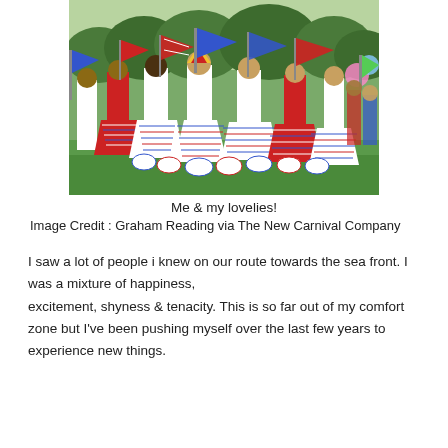[Figure (photo): Group of carnival performers in colorful red, white and blue costumes with large decorative skirts and flags, posing outdoors on grass with trees in background]
Me & my lovelies!
Image Credit : Graham Reading via The New Carnival Company
I saw a lot of people i knew on our route towards the sea front. I was a mixture of happiness, excitement, shyness & tenacity. This is so far out of my comfort zone but I've been pushing myself over the last few years to experience new things.